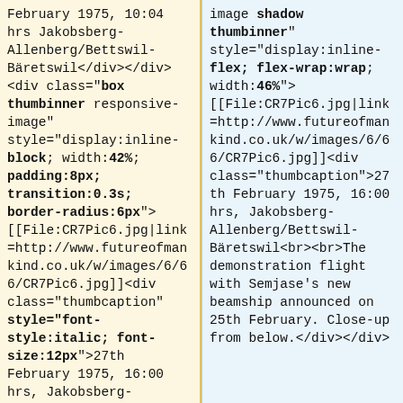February 1975, 10:04 hrs Jakobsberg-Allenberg/Bettswil-Bäretswil</div></div> <div class="box thumbinner responsive-image" style="display:inline-block; width:42%; padding:8px; transition:0.3s; border-radius:6px"> [[File:CR7Pic6.jpg|link=http://www.futureofmankind.co.uk/w/images/6/66/CR7Pic6.jpg]]<div class="thumbcaption" style="font-style:italic; font-size:12px">27th February 1975, 16:00 hrs, Jakobsberg-Allenberg/Bettswil-Bäretswil<br><br>The demonstration flight
image shadow thumbinner" style="display:inline-flex; flex-wrap:wrap; width:46%"> [[File:CR7Pic6.jpg|link=http://www.futureofmankind.co.uk/w/images/6/66/CR7Pic6.jpg]]<div class="thumbcaption">27th February 1975, 16:00 hrs, Jakobsberg-Allenberg/Bettswil-Bäretswil<br><br>The demonstration flight with Semjase's new beamship announced on 25th February. Close-up from below.</div></div>